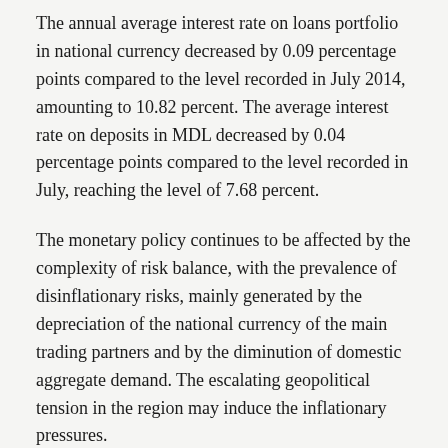The annual average interest rate on loans portfolio in national currency decreased by 0.09 percentage points compared to the level recorded in July 2014, amounting to 10.82 percent. The average interest rate on deposits in MDL decreased by 0.04 percentage points compared to the level recorded in July, reaching the level of 7.68 percent.
The monetary policy continues to be affected by the complexity of risk balance, with the prevalence of disinflationary risks, mainly generated by the depreciation of the national currency of the main trading partners and by the diminution of domestic aggregate demand. The escalating geopolitical tension in the region may induce the inflationary pressures.
The embargos already imposed by the Russian Federation for some food products and the restrictions that...